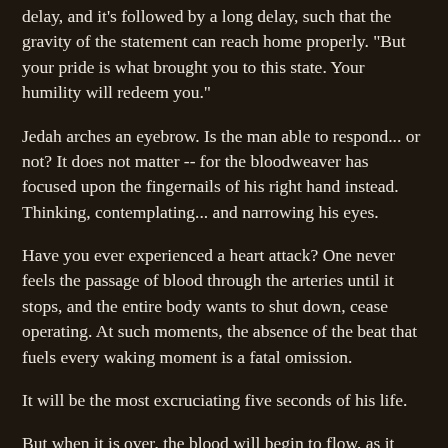delay, and it's followed by a long delay, such that the gravity of the statement can reach home properly. "But your pride is what brought you to this state. Your humility will redeem you."
Jedah arches an eyebrow. Is the man able to respond... or not? It does not matter -- for the bloodweaver has focused upon the fingernails of his right hand instead. Thinking, contemplating... and narrowing his eyes.
Have you ever experienced a heart attack? One never feels the passage of blood through the arteries until it stops, and the entire body wants to shut down, cease operating. At such moments, the absence of the beat that fuels every waking moment is a fatal omission.
It will be the most excruciating five seconds of his life.
But when it is over, the blood will begin to flow, as it always should have.